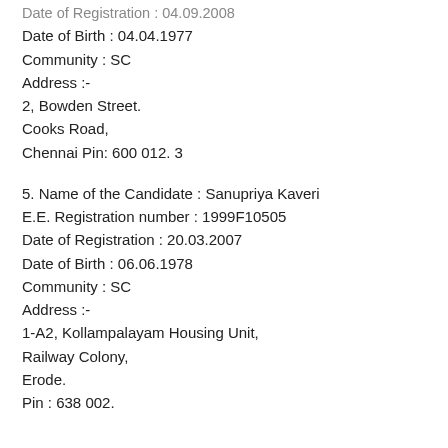Date of Registration : 04.09.2008
Date of Birth : 04.04.1977
Community : SC
Address :-
2, Bowden Street.
Cooks Road,
Chennai Pin: 600 012. 3
5. Name of the Candidate : Sanupriya Kaveri
E.E. Registration number : 1999F10505
Date of Registration : 20.03.2007
Date of Birth : 06.06.1978
Community : SC
Address :-
1-A2, Kollampalayam Housing Unit,
Railway Colony,
Erode.
Pin : 638 002.